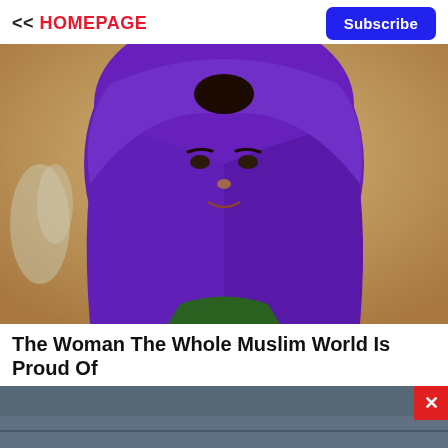<< HOMEPAGE
Subscribe
[Figure (photo): Portrait of a young woman wearing a purple hijab, standing against a sandy/beige wall background with some foliage visible]
The Woman The Whole Muslim World Is Proud Of
[Figure (photo): Partial view of a second article image showing a dark blue-grey outdoor scene, with a red X close button in the upper right corner]
Leesburg OPEN 10AM–9PM 241 Fort Evans Rd NE, Leesburg